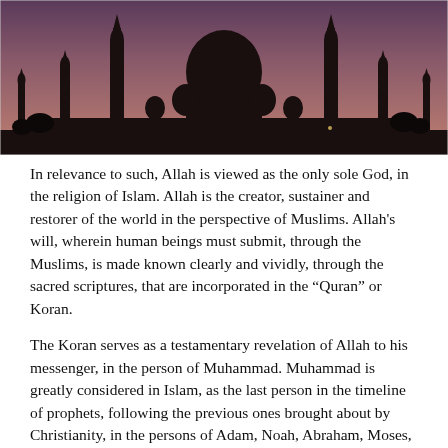[Figure (photo): Silhouette of a mosque (resembling the Taj Mahal / a large domed mosque with minarets) at dusk against a purple-pink sky]
In relevance to such, Allah is viewed as the only sole God, in the religion of Islam. Allah is the creator, sustainer and restorer of the world in the perspective of Muslims. Allah's will, wherein human beings must submit, through the Muslims, is made known clearly and vividly, through the sacred scriptures, that are incorporated in the “Quran” or Koran.
The Koran serves as a testamentary revelation of Allah to his messenger, in the person of Muhammad. Muhammad is greatly considered in Islam, as the last person in the timeline of prophets, following the previous ones brought about by Christianity, in the persons of Adam, Noah, Abraham, Moses, Solomon and Jesus.
In conclusion, Muhammad’s message places emphasis on the simultaneous consummation and completeness of